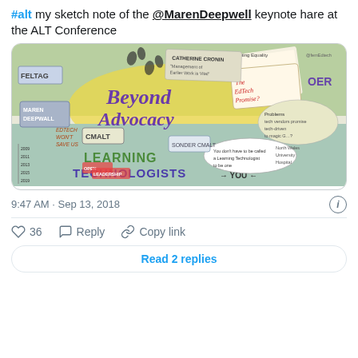#alt my sketch note of the @MarenDeepwell keynote hare at the ALT Conference
[Figure (illustration): Sketch note illustration from the @MarenDeepwell keynote at the ALT Conference. Colorful hand-drawn sketch with text including 'Beyond Advocacy', 'Learning Technologists', 'CMALT', 'EdTech won't save us', 'The EdTech Promise?', 'OER', 'Promoting Equality', 'You don't have to be called a Learning Technologist to be one', arrows, speech bubbles, timelines, and various other annotations.]
9:47 AM · Sep 13, 2018
36  Reply  Copy link
Read 2 replies